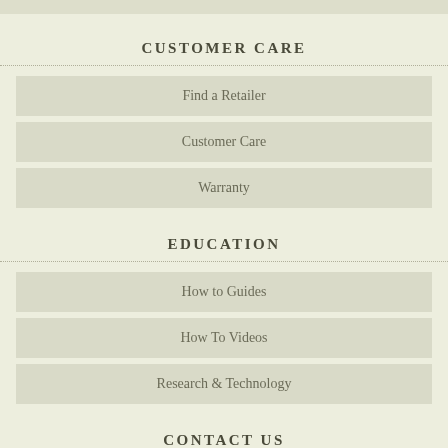CUSTOMER CARE
Find a Retailer
Customer Care
Warranty
EDUCATION
How to Guides
How To Videos
Research & Technology
CONTACT US